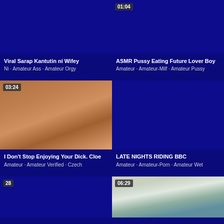[Figure (screenshot): Video thumbnail placeholder (dark blue) for Viral Sarap Kantutin ni Wifey]
Viral Sarap Kantutin ni Wifey
Ni · Amateur Ass · Amateur Orgy
[Figure (screenshot): Video thumbnail placeholder (dark blue) for ASMR Pussy Eating Future Lover Boy]
ASMR Pussy Eating Future Lover Boy
Amateur · Amateur-Milf · Amateur Pussy
[Figure (screenshot): Video thumbnail showing couple on bed, duration 03:24]
I Don't Stop Enjoying Your Dick. Cloe
Amateur · Amateur Verified · Czech
[Figure (screenshot): Video thumbnail placeholder (dark blue) for LATE NIGHTS RIDING BBC, duration 01:04]
LATE NIGHTS RIDING BBC
Amateur · Amateur-Porn · Amateur Wet
[Figure (screenshot): Video thumbnail placeholder (dark blue), badge showing 28]
[Figure (screenshot): Video thumbnail showing feet/legs on blue surface, duration 06:29]